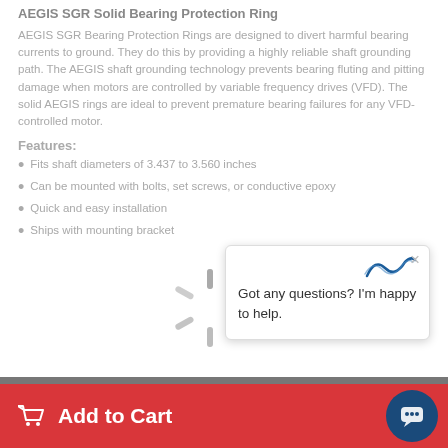AEGIS SGR Solid Bearing Protection Ring
AEGIS SGR Bearing Protection Rings are designed to divert harmful bearing currents to ground. They do this by providing a highly reliable shaft grounding path. The AEGIS shaft grounding technology prevents bearing fluting and pitting damage when motors are controlled by variable frequency drives (VFD). The solid AEGIS rings are ideal to prevent premature bearing failures for any VFD-controlled motor.
Features:
Fits shaft diameters of 3.437 to 3.560 inches
Can be mounted with bolts, set screws, or conductive epoxy
Quick and easy installation
Ships with mounting bracket
[Figure (screenshot): Loading spinner (animated spinner SVG) overlaid on page content]
[Figure (screenshot): Chat popup with AEGIS logo, close button, and text 'Got any questions? I'm happy to help.']
[Figure (screenshot): Red Add to Cart bar at bottom with shopping cart icon and chat bubble button]